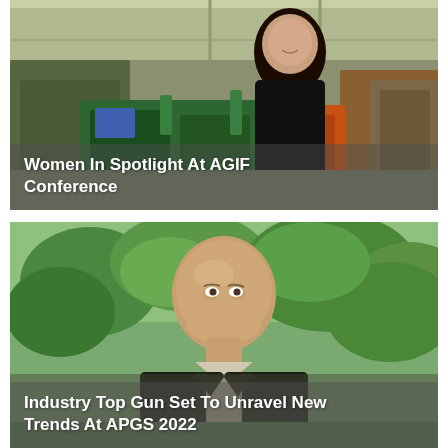[Figure (photo): Woman smiling in a warehouse/factory setting with green and orange industrial equipment (golf cars/utility vehicles). Text overlay: 'Women In Spotlight At AGIF Conference']
[Figure (photo): Older bald man smiling outdoors with green foliage background. Text overlay: 'Industry Top Gun Set To Unravel New Trends At APGS 2022']